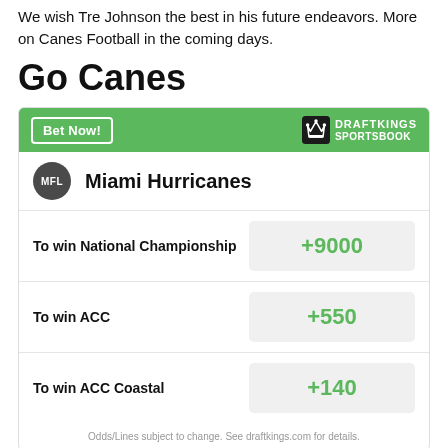We wish Tre Johnson the best in his future endeavors. More on Canes Football in the coming days.
Go Canes
[Figure (other): DraftKings Sportsbook betting widget for Miami Hurricanes showing odds: To win National Championship +9000, To win ACC +550, To win ACC Coastal +140]